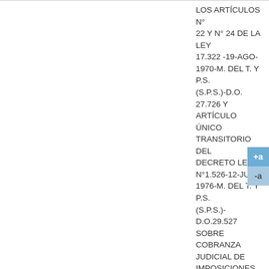| Fecha | Tipo | Organismo | Descripción |
| --- | --- | --- | --- |
|  |  |  | LOS ARTÍCULOS N° 22 Y N° 24 DE LA LEY 17.322 -19-AGO-1970-M. DEL T. Y P.S. (S.P.S.)-D.O. 27.726 Y ARTÍCULO ÚNICO TRANSITORIO DEL DECRETO LEY N°1.526-12-JUL-1976-M. DEL T. Y P.S. (S.P.S.)-D.O.29.527 SOBRE COBRANZA JUDICIAL DE IMPOSICIONES APORTES LEGALES Y MULTAS POR LAS ENTIDADES PREVISIONALES. |
| 15/01/1982 | Circular 769 | Varios | IMPARTE INSTRUCCIONES Y REMITE TABLA PARA EL MES DE FEBRERO |